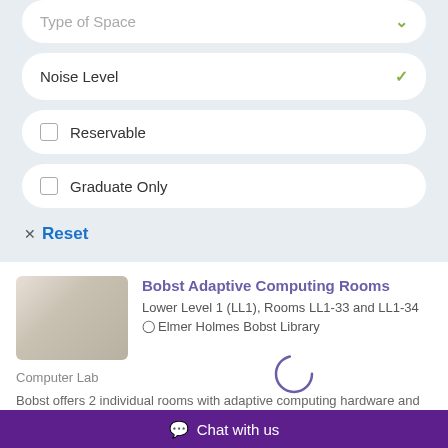Type of Space
Noise Level
Reservable
Graduate Only
× Reset
Bobst Adaptive Computing Rooms
Lower Level 1 (LL1), Rooms LL1-33 and LL1-34
Elmer Holmes Bobst Library
Computer Lab
Bobst offers 2 individual rooms with adaptive computing hardware and software. Regular, ongoing users should be registered with the University's Moses Center for Students with
Chat with us